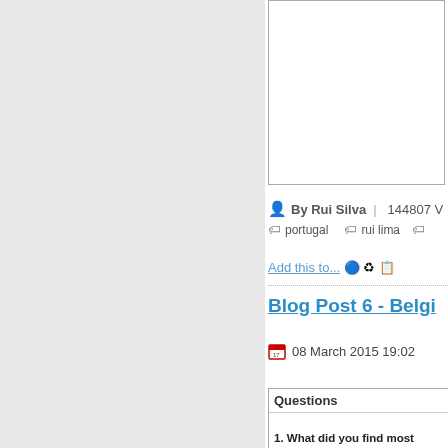(text input box area, empty)
By Rui Silva | 144807 V portugal rui lima
Add this to...
Blog Post 6 - Belgi...
08 March 2015 19:02
Questions
1. What did you find most challenging during the CCL project?